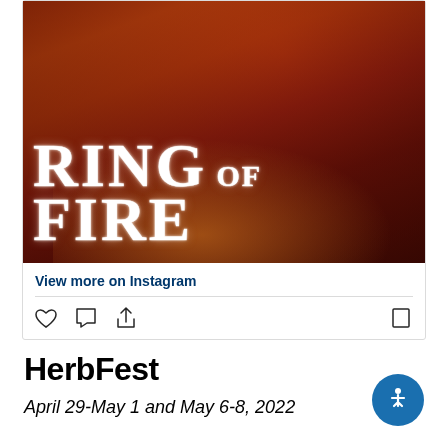[Figure (screenshot): Instagram post screenshot showing a promotional image for 'Ring of Fire' musical with a red/orange background featuring a guitarist. Below the image is a 'View more on Instagram' link and social action icons (heart, comment, share, bookmark).]
HerbFest
April 29-May 1 and May 6-8, 2022